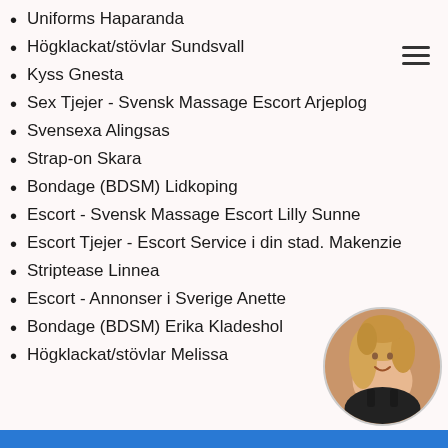Uniforms Haparanda
Högklackat/stövlar Sundsvall
Kyss Gnesta
Sex Tjejer - Svensk Massage Escort Arjeplog
Svensexa Alingsas
Strap-on Skara
Bondage (BDSM) Lidkoping
Escort - Svensk Massage Escort Lilly Sunne
Escort Tjejer - Escort Service i din stad. Makenzie
Striptease Linnea
Escort - Annonser i Sverige Anette
Bondage (BDSM) Erika Kladeshol
Högklackat/stövlar Melissa
[Figure (photo): Circular profile photo of a blonde woman in black outfit]